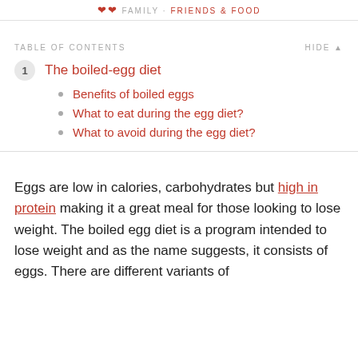FAMILY · FRIENDS · FOOD
TABLE OF CONTENTS
1 The boiled-egg diet
Benefits of boiled eggs
What to eat during the egg diet?
What to avoid during the egg diet?
Eggs are low in calories, carbohydrates but high in protein making it a great meal for those looking to lose weight. The boiled egg diet is a program intended to lose weight and as the name suggests, it consists of eggs. There are different variants of